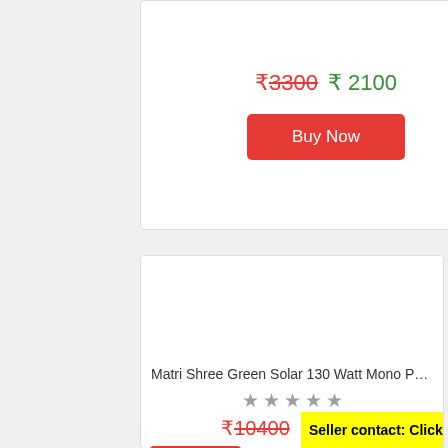₹3300  ₹ 2100
Buy Now
[Figure (screenshot): Product image placeholder area (white/empty) for Matri Shree Green Solar 130 Watt Mono panel product card]
Matri Shree Green Solar 130 Watt Mono Pe...
★★★★★ (5 empty stars)
₹10400  ₹ 9100
Buy Now
Seller contact: Click 2    to ADMIN